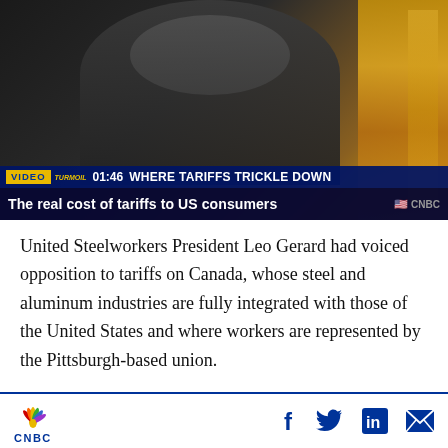[Figure (screenshot): CNBC video thumbnail showing a woman on air. Lower third reads: VIDEO TURMOIL | 01:46 | WHERE TARIFFS TRICKLE DOWN. Title bar: The real cost of tariffs to US consumers. CNBC logo in bottom right.]
United Steelworkers President Leo Gerard had voiced opposition to tariffs on Canada, whose steel and aluminum industries are fully integrated with those of the United States and where workers are represented by the Pittsburgh-based union.
Yet USW members were already traveling to
CNBC | f  Twitter  in  mail icons